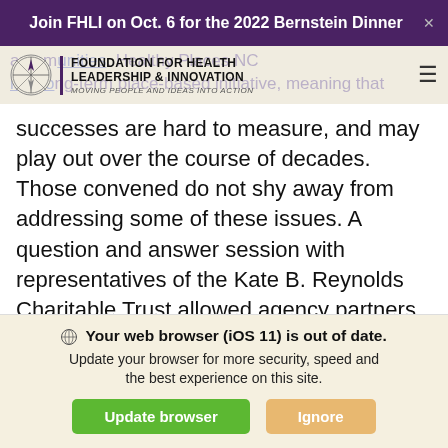Join FHLI on Oct. 6 for the 2022 Bernstein Dinner
[Figure (logo): Foundation for Health Leadership & Innovation logo with compass rose icon and tagline 'Moving People and Ideas Into Action']
successes are hard to measure, and may play out over the course of decades. Those convened do not shy away from addressing some of these issues. A question and answer session with representatives of the Kate B. Reynolds Charitable Trust allowed agency partners to raise concerns over what collective impact looks like, and express the need for data showing tangible outcomes. The structure of the meeting also allowed groups who may normally
Your web browser (iOS 11) is out of date. Update your browser for more security, speed and the best experience on this site.